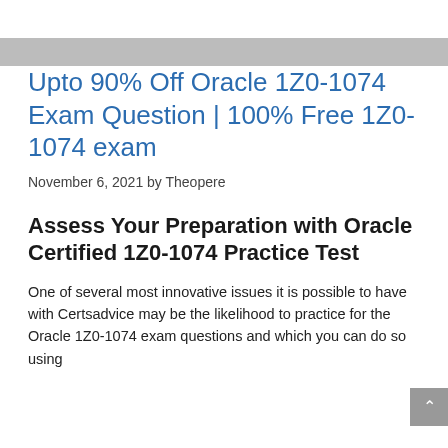Upto 90% Off Oracle 1Z0-1074 Exam Question | 100% Free 1Z0-1074 exam
November 6, 2021 by Theopere
Assess Your Preparation with Oracle Certified 1Z0-1074 Practice Test
One of several most innovative issues it is possible to have with Certsadvice may be the likelihood to practice for the Oracle 1Z0-1074 exam questions and which you can do so using